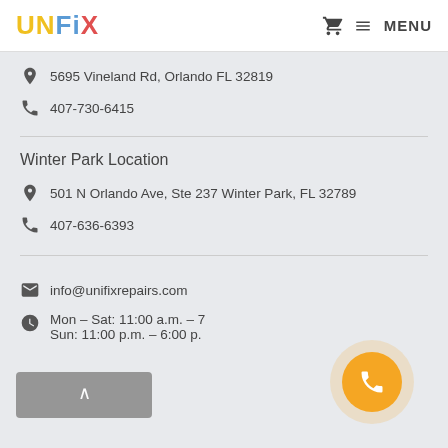UNFIX — MENU
5695 Vineland Rd, Orlando FL 32819
407-730-6415
Winter Park Location
501 N Orlando Ave, Ste 237 Winter Park, FL 32789
407-636-6393
info@unifixrepairs.com
Mon – Sat: 11:00 a.m. – 7 ... Sun: 11:00 p.m. – 6:00 p...